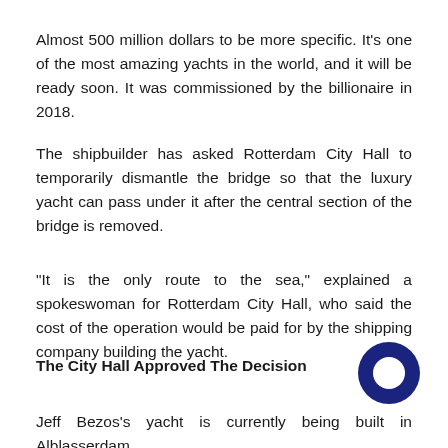Almost 500 million dollars to be more specific. It's one of the most amazing yachts in the world, and it will be ready soon. It was commissioned by the billionaire in 2018.
The shipbuilder has asked Rotterdam City Hall to temporarily dismantle the bridge so that the luxury yacht can pass under it after the central section of the bridge is removed.
"It is the only route to the sea," explained a spokeswoman for Rotterdam City Hall, who said the cost of the operation would be paid for by the shipping company building the yacht.
The City Hall Approved The Decision
[Figure (logo): Dark blue circle with a white circle/hole in the center, resembling a chat bubble or logo icon]
Jeff Bezos's yacht is currently being built in Alblasserdam,